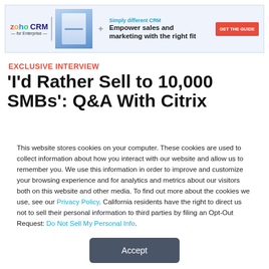[Figure (infographic): Zoho CRM for Enterprise advertisement banner with logo, product image, tagline 'Simply different CRM', headline 'Empower sales and marketing with the right fit', and a red 'GET THE GUIDE' button]
EXCLUSIVE INTERVIEW
'I'd Rather Sell to 10,000 SMBs': Q&A With Citrix
This website stores cookies on your computer. These cookies are used to collect information about how you interact with our website and allow us to remember you. We use this information in order to improve and customize your browsing experience and for analytics and metrics about our visitors both on this website and other media. To find out more about the cookies we use, see our Privacy Policy. California residents have the right to direct us not to sell their personal information to third parties by filing an Opt-Out Request: Do Not Sell My Personal Info.